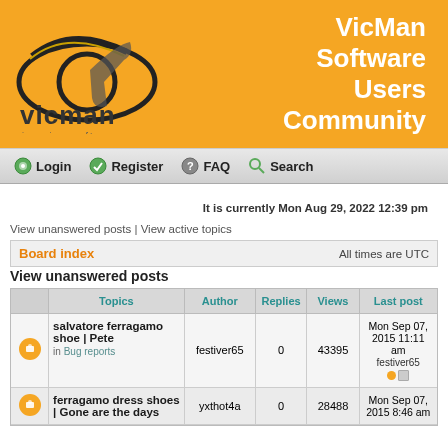[Figure (logo): VicMan imaging software logo on orange background with site title 'VicMan Software Users Community']
Login  Register  FAQ  Search
It is currently Mon Aug 29, 2022 12:39 pm
View unanswered posts | View active topics
Board index   All times are UTC
View unanswered posts
|  | Topics | Author | Replies | Views | Last post |
| --- | --- | --- | --- | --- | --- |
|  | salvatore ferragamo shoe | Pete
in Bug reports | festiver65 | 0 | 43395 | Mon Sep 07, 2015 11:11 am
festiver65 |
|  | ferragamo dress shoes | Gone are the days | yxthot4a | 0 | 28488 | Mon Sep 07, 2015 8:46 am |